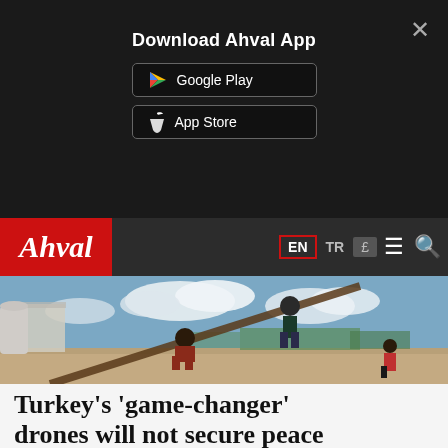Download Ahval App
[Figure (screenshot): Google Play store button]
[Figure (screenshot): App Store button]
[Figure (logo): Ahval logo in red box with EN, TR, £ language selectors and hamburger/search icons]
[Figure (photo): Children playing on a seesaw or makeshift ramp in an arid outdoor setting with clouds in the background]
Turkey's 'game-changer' drones will not secure peace